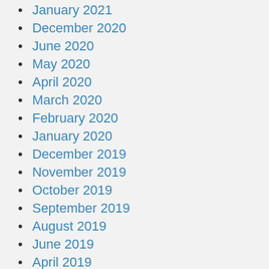January 2021
December 2020
June 2020
May 2020
April 2020
March 2020
February 2020
January 2020
December 2019
November 2019
October 2019
September 2019
August 2019
June 2019
April 2019
March 2019